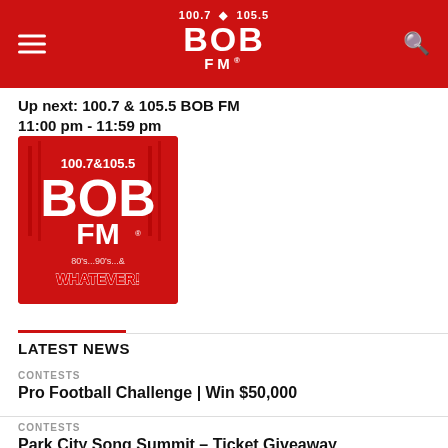100.7 105.5 BOB FM
Up next: 100.7 & 105.5 BOB FM
11:00 pm - 11:59 pm
[Figure (logo): 100.7 & 105.5 BOB FM logo on red background with text 80's...90's...& WHATEVER!]
LATEST NEWS
CONTESTS
Pro Football Challenge | Win $50,000
CONTESTS
Park City Song Summit – Ticket Giveaway